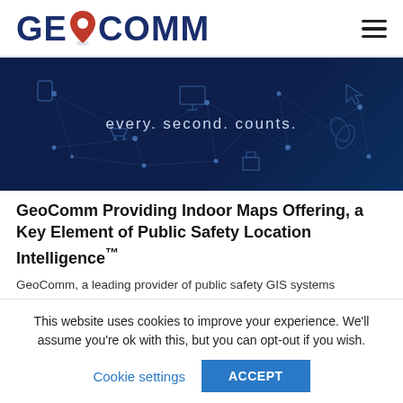[Figure (logo): GeoComm logo with navy blue text and red map pin icon replacing the letter O]
[Figure (illustration): Dark navy blue hero banner with connected IoT device icons and the tagline 'every. second. counts.' in light blue text]
GeoComm Providing Indoor Maps Offering, a Key Element of Public Safety Location Intelligence™
GeoComm, a leading provider of public safety GIS systems
This website uses cookies to improve your experience. We'll assume you're ok with this, but you can opt-out if you wish.
Cookie settings   ACCEPT